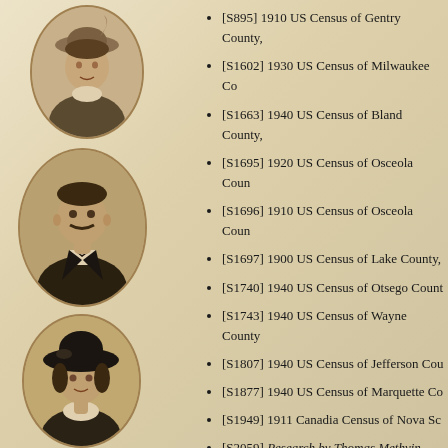[Figure (photo): Sepia portrait photo of a woman with hat, oval frame]
[Figure (photo): Sepia portrait photo of a man in dark suit, oval frame]
[Figure (photo): Sepia portrait photo of a woman with large dark hat, oval frame]
[Figure (photo): Sepia portrait photo of a bearded man, oval frame, partial]
[S895] 1910 US Census of Gentry County,
[S1602] 1930 US Census of Milwaukee Co
[S1663] 1940 US Census of Bland County,
[S1695] 1920 US Census of Osceola Coun
[S1696] 1910 US Census of Osceola Coun
[S1697] 1900 US Census of Lake County,
[S1740] 1940 US Census of Otsego Count
[S1743] 1940 US Census of Wayne County
[S1807] 1940 US Census of Jefferson Cou
[S1877] 1940 US Census of Marquette Co
[S1949] 1911 Canadia Census of Nova Sc
[S2059] Research by Thomas Methvin.
[S2081] Michigan Marriage records 1822-